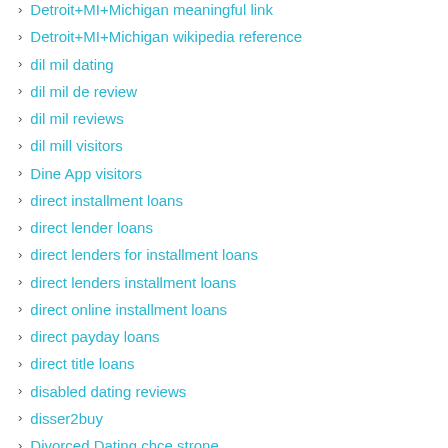Detroit+MI+Michigan meaningful link
Detroit+MI+Michigan wikipedia reference
dil mil dating
dil mil de review
dil mil reviews
dil mill visitors
Dine App visitors
direct installment loans
direct lender loans
direct lenders for installment loans
direct lenders installment loans
direct online installment loans
direct payday loans
direct title loans
disabled dating reviews
disser2buy
Divorced Dating chce strone
divorced dating dating
Divorced Dating de recensies